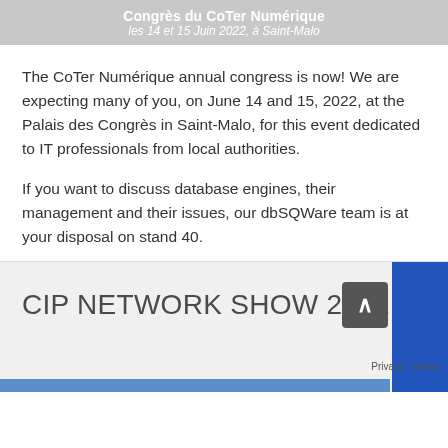Congrès du CoTer Numérique
les 14 et 15 Juin 2022, à Saint-Malo
The CoTer Numérique annual congress is now! We are expecting many of you, on June 14 and 15, 2022, at the Palais des Congrès in Saint-Malo, for this event dedicated to IT professionals from local authorities.
If you want to discuss database engines, their management and their issues, our dbSQWare team is at your disposal on stand 40.
CIP NETWORK SHOW 2022